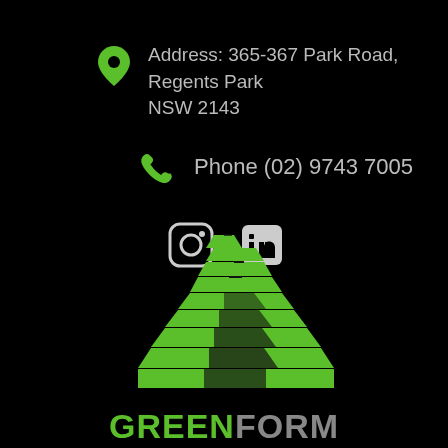Address: 365-367 Park Road, Regents Park NSW 2143
Phone (02) 9743 7005
[Figure (illustration): Instagram and LinkedIn social media icons in white outline style on black background]
[Figure (logo): GreenForm logo: green angular building/pyramid shape made of stacked horizontal bars, with GREENFORM text below in green and gray]
GREENFORM